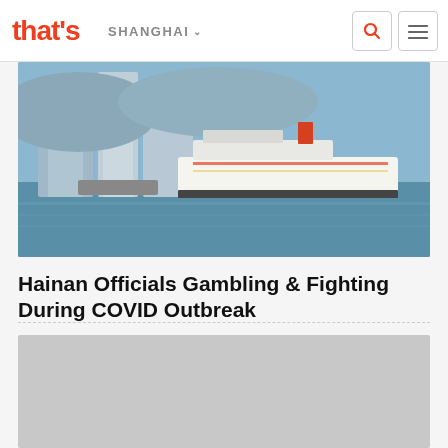that's SHANGHAI
[Figure (photo): Cruise ship and tall buildings along a harbor waterfront with blue water]
Hainan Officials Gambling & Fighting During COVID Outbreak
[Figure (photo): Gray placeholder image (second article image, not yet loaded)]